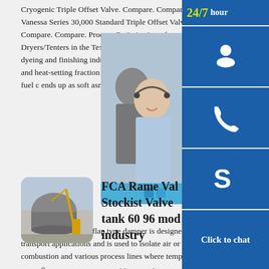Cryogenic Triple Offset Valve. Compare. Compare. Vanessa Series 30,000 Standard Triple Offset Valve. Compare. Compare. Process Optimization of Dryers/Tenters in the Textile IndustryAbstract. Textile dyeing and finishing industry dryers/tenters for drying and heat-setting fraction of the heating value of the fuel c ends up as soft asme tank 60 96 model
[Figure (photo): Customer service representative photo with 24/7 hour badge, phone icon, and Skype/chat icon overlay panel on the right side. Includes 'Click to chat' button.]
[Figure (photo): Thumbnail image of an industrial storage tank with crane equipment.]
FCA Rame Val Stockist Valve tank 60 96 mod industry
The DFL model FCA flap type damper is designed for pneumatic transport applications and is used to isolate air or industrial gas in combustion and various process lines where temperatures may reach up to 900ºC. FCA Features. Capable to work on many industrial sectors. Reduces valve torque. Environmental Acronyms, Abbreviations and Glossary of